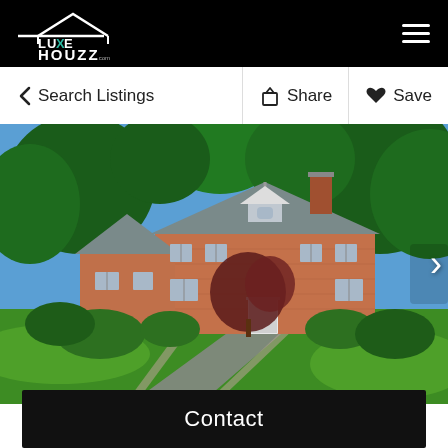LUXE HOUZZ .com LIVE EXTRAORDINARY
< Search Listings
Share
Save
[Figure (photo): Large brick colonial/Georgian style house with gray slate roof, surrounded by lush green trees and manicured shrubs, with a curved asphalt driveway bordered by stone pavers. Blue sky visible through tree canopy.]
Contact